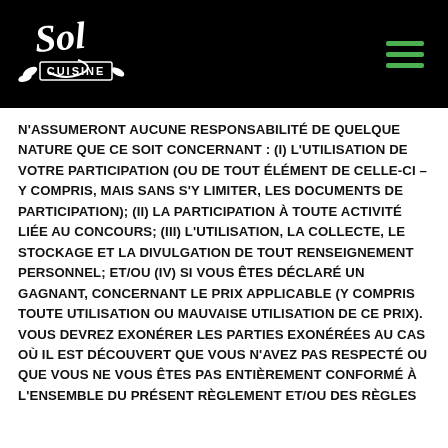[Figure (logo): Sol Cuisine logo on black background header with hamburger menu icon]
N'ASSUMERONT AUCUNE RESPONSABILITÉ DE QUELQUE NATURE QUE CE SOIT CONCERNANT : (I) L'UTILISATION DE VOTRE PARTICIPATION (OU DE TOUT ÉLÉMENT DE CELLE-CI – Y COMPRIS, MAIS SANS S'Y LIMITER, LES DOCUMENTS DE PARTICIPATION); (II) LA PARTICIPATION À TOUTE ACTIVITÉ LIÉE AU CONCOURS; (III) L'UTILISATION, LA COLLECTE, LE STOCKAGE ET LA DIVULGATION DE TOUT RENSEIGNEMENT PERSONNEL; ET/OU (IV) SI VOUS ÊTES DÉCLARÉ UN GAGNANT, CONCERNANT LE PRIX APPLICABLE (Y COMPRIS TOUTE UTILISATION OU MAUVAISE UTILISATION DE CE PRIX). VOUS DEVREZ EXONÉRER LES PARTIES EXONÉRÉES AU CAS OÙ IL EST DÉCOUVERT QUE VOUS N'AVEZ PAS RESPECTÉ OU QUE VOUS NE VOUS ÊTES PAS ENTIÈREMENT CONFORMÉ À L'ENSEMBLE DU PRÉSENT RÈGLEMENT ET/OU DES RÈGLES